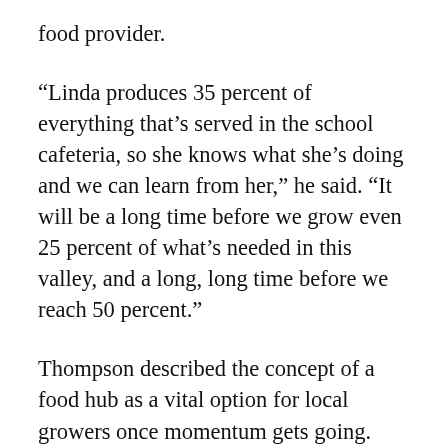food provider.
“Linda produces 35 percent of everything that’s served in the school cafeteria, so she knows what she’s doing and we can learn from her,” he said. “It will be a long time before we grow even 25 percent of what’s needed in this valley, and a long, long time before we reach 50 percent.”
Thompson described the concept of a food hub as a vital option for local growers once momentum gets going. Food hubs are springing up in rural America where farmers produce food crops that are